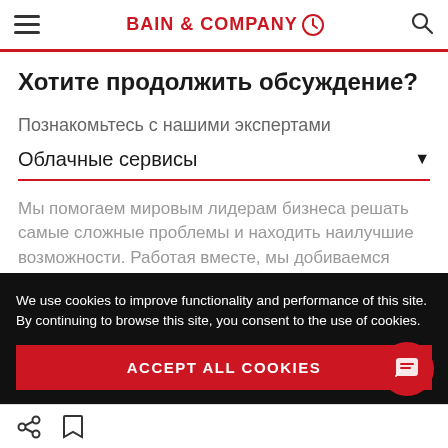BAIN & COMPANY
Хотите продолжить обсуждение?
Познакомьтесь с нашими экспертами
Облачные сервисы
Мы помогаем мировым лидерам бизнеса решать самые сложные проблемы и находить наилучшие возможности. Работая вместе, мы добиваемся
We use cookies to improve functionality and performance of this site. By continuing to browse this site, you consent to the use of cookies.
ACCEPT ALL COOKIES